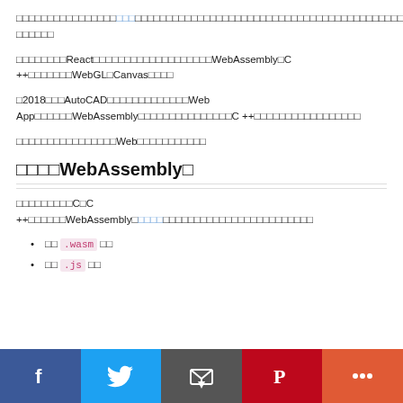□□□□□□□□□□□□□□□□□□□□□□□□□□□□□□□□□□□□□□□□□□□□□□□□□□□□□□□□□□□□□□□□□□□□□□□□□□□□□□□□□□□□□□□□□□□□□□□□□□□□□□□□□□□□□□□□□□□□□□□□□□□□□□□□□□□□□□□□□□□□□□□□□□□□□□□□□□□□
□□□□□□□□React□□□□□□□□□□□□□□□□□□□WebAssembly□C ++□□□□□□□WebGL□Canvas□□□□
□2018□□□AutoCAD□□□□□□□□□□□□□Web App□□□□□□WebAssembly□□□□□□□□□□□□□□□C ++□□□□□□□□□□□□□□□□□
□□□□□□□□□□□□□□□□Web□□□□□□□□□□□
□□□□WebAssembly□
□□□□□□□□□C□C ++□□□□□□WebAssembly□□□□□□□□□□□□□□□□□□□□□□□□
□□ .wasm □□
□□ .js □□